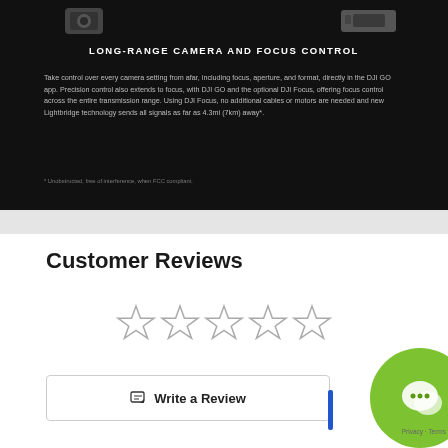[Figure (screenshot): Black background product section showing two camera device thumbnails at top, with title LONG-RANGE CAMERA AND FOCUS CONTROL and descriptive text below, plus a footnote.]
LONG-RANGE CAMERA AND FOCUS CONTROL
Take control over every camera setting from afar, including focus, aperture, and format, directly in the DJI GO app. Precision control also extends to focus, with DJI GO and the optional DJI Focus, offering focus control across the entire transmission range. Using DJI Focus, no additional cables or motors are needed and new Lightbridge technology sends all signals as far as 4.3mi (7km) away*.
* Unobstructed, free of interference, when FCC compliant.
Customer Reviews
[Figure (other): Five empty/outline star rating icons representing 0 out of 5 stars]
Write a Review